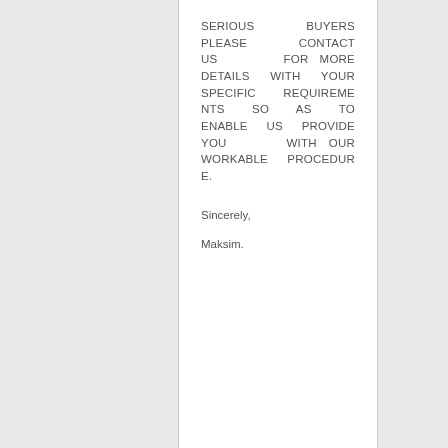SERIOUS BUYERS PLEASE CONTACT US FOR MORE DETAILS WITH YOUR SPECIFIC REQUIREMENTS SO AS TO ENABLE US PROVIDE YOU WITH OUR WORKABLE PROCEDURE.
Sincerely,
Maksim.